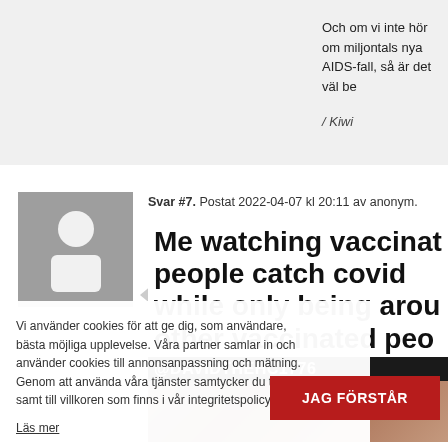Och om vi inte hör om miljontals nya AIDS-fall, så är det väl be
/ Kiwi
Svar #7. Postat 2022-04-07 kl 20:11 av anonym.
[Figure (screenshot): Meme image with bold text: 'Me watching vaccinated people catch covid while only being around other vaccinated people' with @DAVIDTHEHC1776 handle overlay and a blurred face photo background]
Vi använder cookies för att ge dig, som användare, bästa möjliga upplevelse. Våra partner samlar in och använder cookies till annonsanpassning och mätning. Genom att använda våra tjänster samtycker du till detta, samt till villkoren som finns i vår integritetspolicy.
Läs mer
JAG FÖRSTÅR